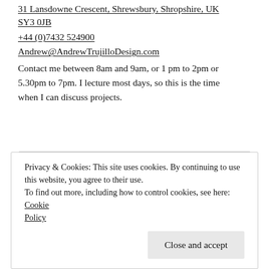31 Lansdowne Crescent, Shrewsbury, Shropshire, UK SY3 0JB
+44 (0)7432 524900
Andrew@AndrewTrujilloDesign.com
Contact me between 8am and 9am, or 1 pm to 2pm or 5.30pm to 7pm. I lecture most days, so this is the time when I can discuss projects.
Select Language
Powered by Google Translate
Privacy & Cookies: This site uses cookies. By continuing to use this website, you agree to their use.
To find out more, including how to control cookies, see here: Cookie Policy
Close and accept